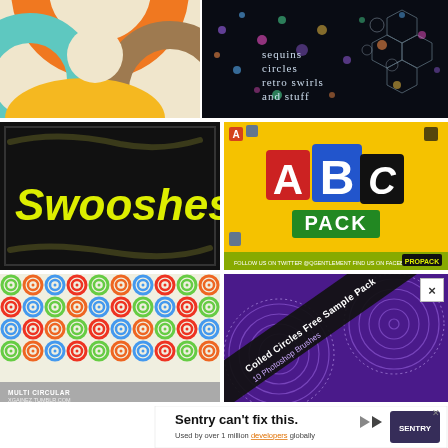[Figure (illustration): Retro-style abstract graphic with overlapping circles in orange, teal/mint, beige/cream, and brown tones on a light background]
[Figure (illustration): Dark background with colorful sequins, circles, retro swirls and molecular structures. Text reads: 'sequins circles retro swirls and stuff']
[Figure (illustration): Black background with yellow swoosh brush strokes. Text reads: 'Swooshes' in large yellow font]
[Figure (illustration): Yellow background with ABC letters on colored blocks (red A, blue B, black C). Text reads 'ABC Pack' and 'PROPACK'. Footer: 'FOLLOW US ON TWITTER @QGENTLEMENT FIND US ON FACEBOOK TOO']
[Figure (illustration): White background covered with colorful multi-circular dot pattern (green, orange, blue, red circles). Bottom text: 'MULTI CIRCULAR, XGAINEZ.TUMBLR.COM']
[Figure (illustration): Purple background with coiled/spiral circle brushes in lighter purple. Diagonal black banner with white text: 'Coiled Circles Free Sample Pack, 10 Photoshop Brushes']
[Figure (illustration): Advertisement banner: 'Sentry can't fix this. Used by over 1 million developers globally' with Sentry logo and illustrated character]